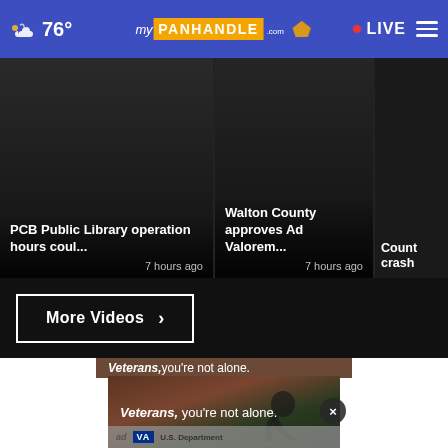76° myPanhandle.com • LIVE
PCB Public Library operation hours coul...
7 hours ago
Walton County approves Ad Valorem...
7 hours ago
Count crash
More Videos ›
[Figure (photo): Veterans ad image showing a woman sitting alone with text: Veterans, whatever you're going through, you don't have to do it alone. VA logo.]
Veterans, you're not alone.
ad VA U.S. Department